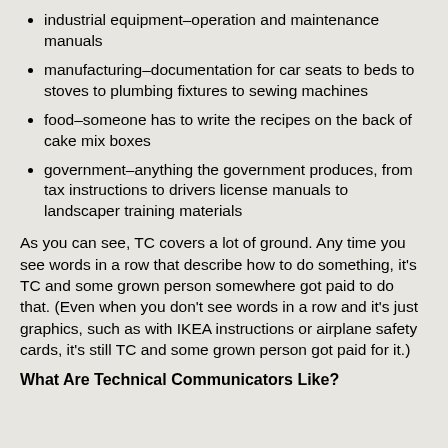industrial equipment–operation and maintenance manuals
manufacturing–documentation for car seats to beds to stoves to plumbing fixtures to sewing machines
food–someone has to write the recipes on the back of cake mix boxes
government–anything the government produces, from tax instructions to drivers license manuals to landscaper training materials
As you can see, TC covers a lot of ground. Any time you see words in a row that describe how to do something, it's TC and some grown person somewhere got paid to do that. (Even when you don't see words in a row and it's just graphics, such as with IKEA instructions or airplane safety cards, it's still TC and some grown person got paid for it.)
What Are Technical Communicators Like?